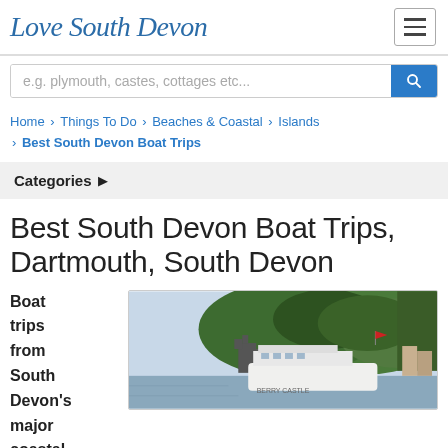Love South Devon
e.g. plymouth, castes, cottages etc...
Home › Things To Do › Beaches & Coastal › Islands › Best South Devon Boat Trips
Categories ▶
Best South Devon Boat Trips, Dartmouth, South Devon
Boat trips from South Devon's major coastal
[Figure (photo): Photo of a boat on water near a wooded hillside and castle ruins, with a passenger ferry visible]